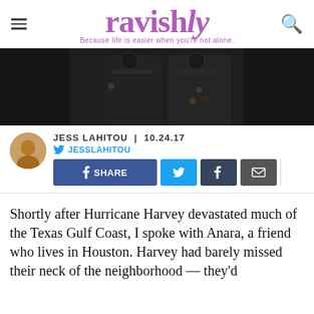ravishly — Because life is easier when you're not alone.
[Figure (photo): Dark background hero image showing two people in black clothing, partially cropped]
JESS LAHITOU | 10.24.17
@JESSLAHITOU
SHARE (Facebook, Twitter, Tumblr, Email social share buttons)
Shortly after Hurricane Harvey devastated much of the Texas Gulf Coast, I spoke with Anara, a friend who lives in Houston. Harvey had barely missed their neck of the neighborhood — they'd